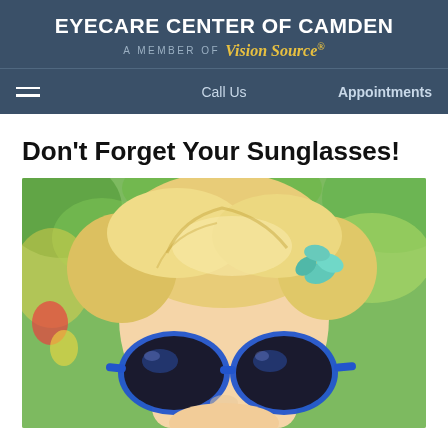EYECARE CENTER OF CAMDEN — A MEMBER OF Vision Source
Call Us   Appointments
Don't Forget Your Sunglasses!
[Figure (photo): Young blonde child wearing large blue-framed sunglasses with a teal flower hair clip, photographed outdoors with green foliage in the background.]